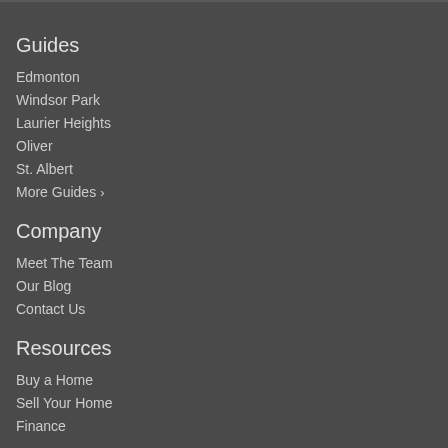Guides
Edmonton
Windsor Park
Laurier Heights
Oliver
St. Albert
More Guides >
Company
Meet The Team
Our Blog
Contact Us
Resources
Buy a Home
Sell Your Home
Finance